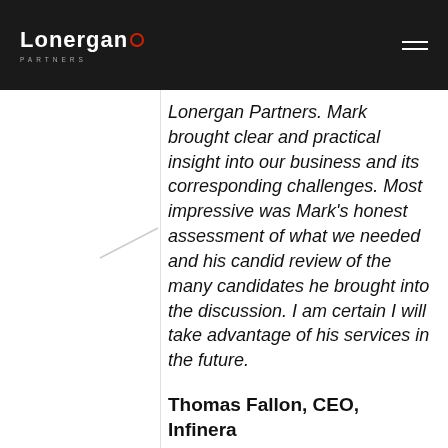Lonergan Partners
Lonergan Partners. Mark brought clear and practical insight into our business and its corresponding challenges. Most impressive was Mark's honest assessment of what we needed and his candid review of the many candidates he brought into the discussion. I am certain I will take advantage of his services in the future.
Thomas Fallon, CEO, Infinera